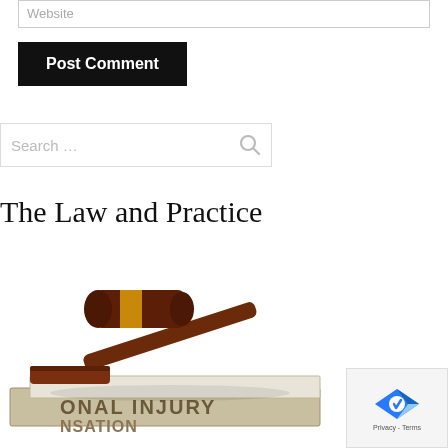Website
Post Comment
Search …
The Law and Practice
[Figure (photo): A wooden judge's gavel resting on top of law books with text reading 'PERSONAL INJURY' and 'COMPENSATION' on the spines, set against a white background.]